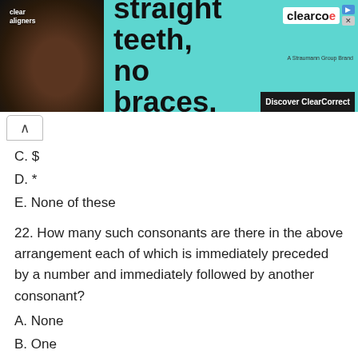[Figure (photo): Advertisement banner for ClearCorrect clear aligners featuring a smiling woman, teal background with 'straight teeth, no braces.' headline and 'Discover ClearCorrect' button]
C. $
D. *
E. None of these
22. How many such consonants are there in the above arrangement each of which is immediately preceded by a number and immediately followed by another consonant?
A. None
B. One
C. Two
D. Three
E. More than three
23. Four of the following five are alike in a certain way based on their positions in the above arrangement and so form a group. Which is the one that does not belong to that group?
A. 411